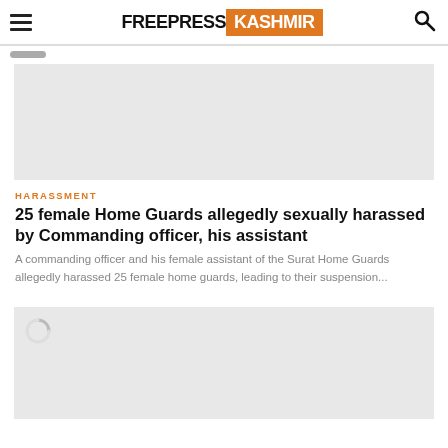FREEPRESS KASHMIR
[Figure (photo): Gray placeholder image at top of article]
HARASSMENT
25 female Home Guards allegedly sexually harassed by Commanding officer, his assistant
A commanding officer and his female assistant of the Surat Home Guards allegedly harassed 25 female home guards, leading to their suspension...
[Figure (photo): Gray placeholder image at bottom with loading spinner]